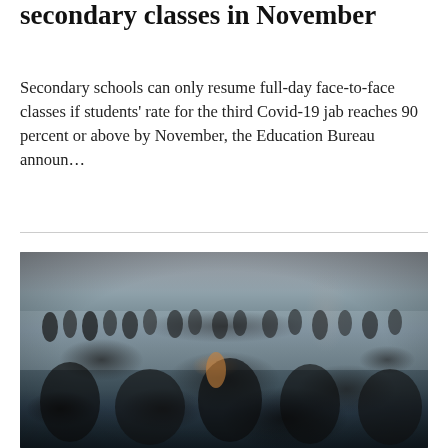secondary classes in November
Secondary schools can only resume full-day face-to-face classes if students' rate for the third Covid-19 jab reaches 90 percent or above by November, the Education Bureau announ...
[Figure (photo): A large crowd of people gathered outdoors in what appears to be a parking lot or large open paved area. Black and white toned photograph showing many students or people grouped together.]